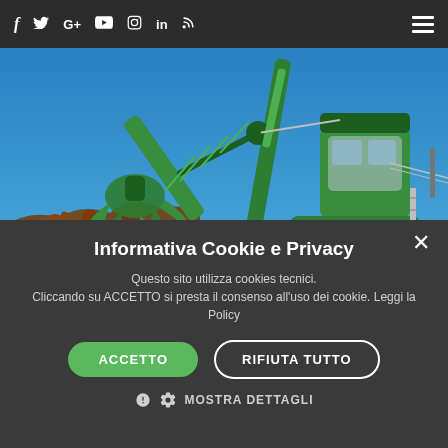f  🐦  G+  yt  📷  in  RSS  ☰
[Figure (photo): Green industrial material handler crane/excavator with a grapple attachment holding scrap metal against a blue sky background. The machine is a heavy-duty SENNEBOGEN-style handler with elevated cab.]
Informativa Cookie e Privacy
Questo sito utilizza cookies tecnici.
Cliccando su ACCETTO si presta il consenso all'uso dei cookie. Leggi la Policy
ACCETTO
RIFIUTA TUTTO
⚙ MOSTRA DETTAGLI